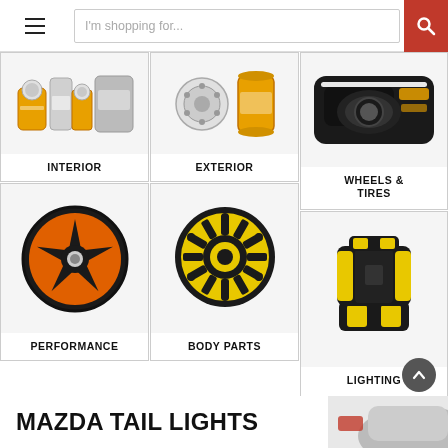[Figure (screenshot): Website header with hamburger menu, search bar saying 'I'm shopping for...', and red search button with magnifying glass icon]
[Figure (photo): Product category card: Interior — showing oil filters and fluid bottles]
[Figure (photo): Product category card: Exterior — showing oil filter and parts]
[Figure (photo): Product category card: Wheels & Tires — showing headlight assembly]
[Figure (photo): Product category card: Performance — showing orange/black alloy wheel]
[Figure (photo): Product category card: Body Parts — showing yellow clutch/flywheel assembly]
[Figure (photo): Product category card: Lighting — showing black and yellow racing seat]
MAZDA TAIL LIGHTS